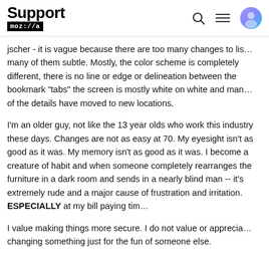Support moz://a
jscher - it is vague because there are too many changes to list, many of them subtle. Mostly, the color scheme is completely different, there is no line or edge or delineation between the bookmark "tabs" the screen is mostly white on white and many of the details have moved to new locations.
I'm an older guy, not like the 13 year olds who work this industry these days. Changes are not as easy at 70. My eyesight isn't as good as it was. My memory isn't as good as it was. I become a creature of habit and when someone completely rearranges the furniture in a dark room and sends in a nearly blind man -- it's extremely rude and a major cause of frustration and irritation. ESPECIALLY at my bill paying time
I value making things more secure. I do not value or appreciate changing something just for the fun of someone else.